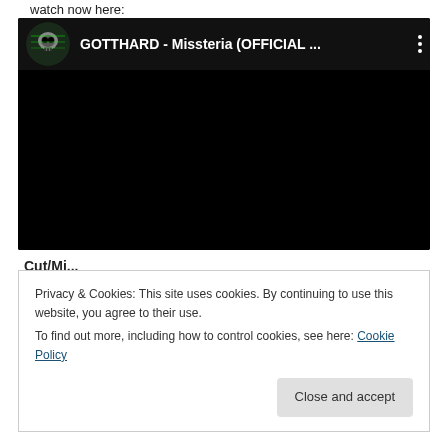watch now here:
[Figure (screenshot): YouTube video embed showing GOTTHARD - Missteria (OFFICIAL ...) with skull logo thumbnail and black video body]
Cut/Mi...
Privacy & Cookies: This site uses cookies. By continuing to use this website, you agree to their use.
To find out more, including how to control cookies, see here: Cookie Policy
Close and accept